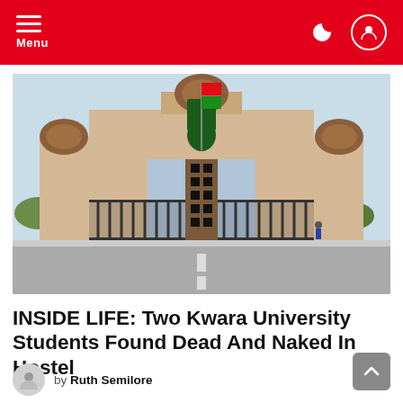Menu
[Figure (photo): Entrance gate of Kwara State University — a large ornate arch with domed towers, metal gates, a flagpole, and surrounding vegetation under a clear sky.]
INSIDE LIFE: Two Kwara University Students Found Dead And Naked In Hostel
by Ruth Semilore